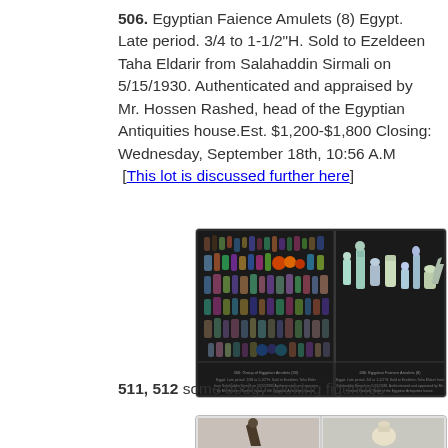506. Egyptian Faience Amulets (8) Egypt. Late period. 3/4 to 1-1/2"H. Sold to Ezeldeen Taha Eldarir from Salahaddin Sirmali on 5/15/1930. Authenticated and appraised by Mr. Hossen Rashed, head of the Egyptian Antiquities house.Est. $1,200-$1,800 Closing: Wednesday, September 18th, 10:56 A.M  [This lot is discussed further here]
[Figure (photo): Two-panel auction catalog image showing Egyptian faience amulets on black background. Left panel shows a large collection of colorful amulets arranged in rows. Right panel shows 8 light-colored faience amulets standing upright. Below each panel is descriptive text.]
511, 512 some dodgy-looking figurines
[Figure (photo): Two-panel auction catalog image showing figurines. Left panel shows a dark figurine, right panel shows a light-colored vessel or figurine on gray background.]